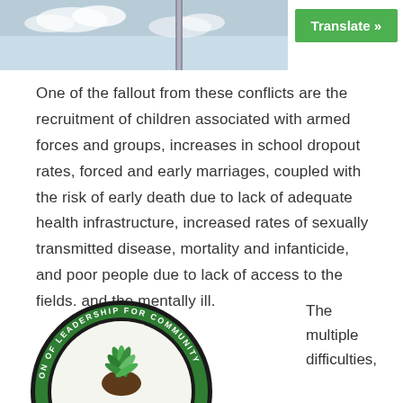[Figure (photo): Top banner image showing sky with clouds and a tall structure, with a green Translate button overlay]
One of the fallout from these conflicts are the recruitment of children associated with armed forces and groups, increases in school dropout rates, forced and early marriages, coupled with the risk of early death due to lack of adequate health infrastructure, increased rates of sexually transmitted disease, mortality and infanticide, and poor people due to lack of access to the fields. and the mentally ill.
[Figure (logo): Circular logo reading 'ON OF LEADERSHIP FOR COMMUNITY DEV' with a green tree/hand design in the center]
The multiple difficulties,